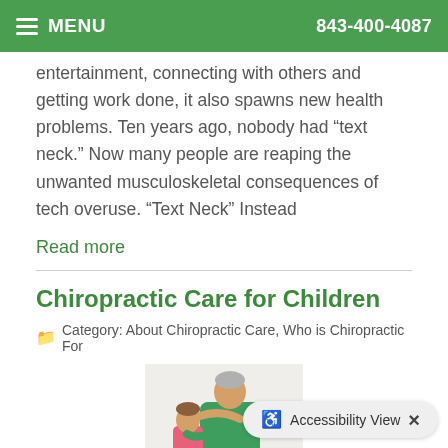MENU  843-400-4087
entertainment, connecting with others and getting work done, it also spawns new health problems. Ten years ago, nobody had “text neck.” Now many people are reaping the unwanted musculoskeletal consequences of tech overuse. “Text Neck” Instead
Read more
Chiropractic Care for Children
Category: About Chiropractic Care, Who is Chiropractic For
[Figure (photo): A chiropractor in green scrubs adjusting a young child's neck/shoulder area against a light background.]
Accessibility View